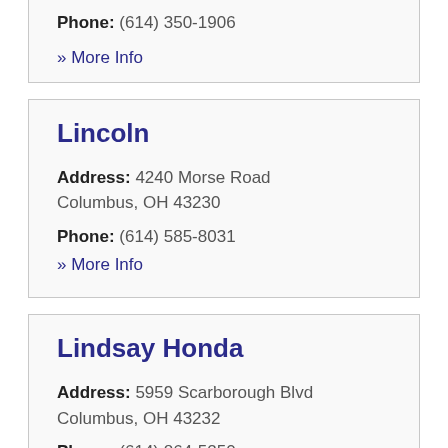Phone: (614) 350-1906
» More Info
Lincoln
Address: 4240 Morse Road Columbus, OH 43230
Phone: (614) 585-8031
» More Info
Lindsay Honda
Address: 5959 Scarborough Blvd Columbus, OH 43232
Phone: (614) 864-5250
» More Info